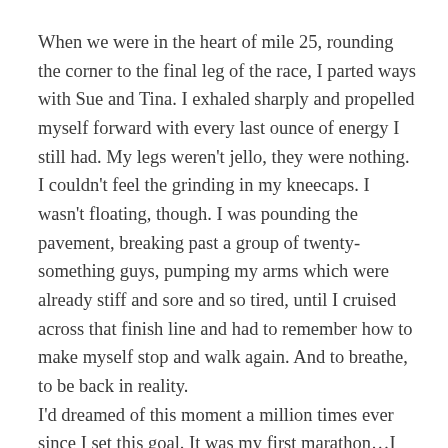When we were in the heart of mile 25, rounding the corner to the final leg of the race, I parted ways with Sue and Tina. I exhaled sharply and propelled myself forward with every last ounce of energy I still had. My legs weren't jello, they were nothing. I couldn't feel the grinding in my kneecaps. I wasn't floating, though. I was pounding the pavement, breaking past a group of twenty-something guys, pumping my arms which were already stiff and sore and so tired, until I cruised across that finish line and had to remember how to make myself stop and walk again. And to breathe, to be back in reality.
I'd dreamed of this moment a million times ever since I set this goal. It was my first marathon…I figured that I would be so overcome with emotion, so moved to tears,